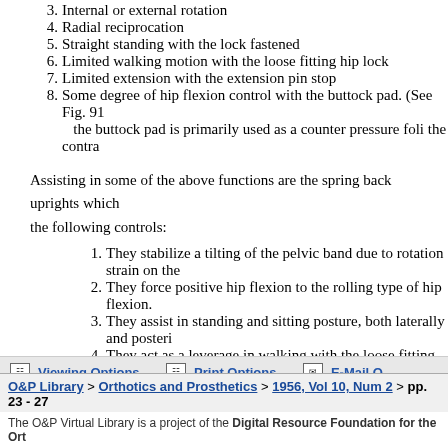3. Internal or external rotation
4. Radial reciprocation
5. Straight standing with the lock fastened
6. Limited walking motion with the loose fitting hip lock
7. Limited extension with the extension pin stop
8. Some degree of hip flexion control with the buttock pad. (See Fig. 91 the buttock pad is primarily used as a counter pressure foli the contra
Assisting in some of the above functions are the spring back uprights which the following controls:
1. They stabilize a tilting of the pelvic band due to rotation strain on the
2. They force positive hip flexion to the rolling type of hip flexion.
3. They assist in standing and sitting posture, both laterally and posteri
4. They act as a leverage in walking with the loose fitting lock and the li extension stops.
With the above knowledge on measuring and certain functional controls, I b have a good starting point in the bracing of cerebral palsy patients.
In the preceding paragraphs I have set forth, in brief, my ideas and opinions subject. I hope that these thoughts will in some way help those who are face bracing cerebral palsy patients.
Viewing Options  Print Options  E-Mail O
O&P Library > Orthotics and Prosthetics > 1956, Vol 10, Num 2 > pp. 23 - 27
The O&P Virtual Library is a project of the Digital Resource Foundation for the Ort